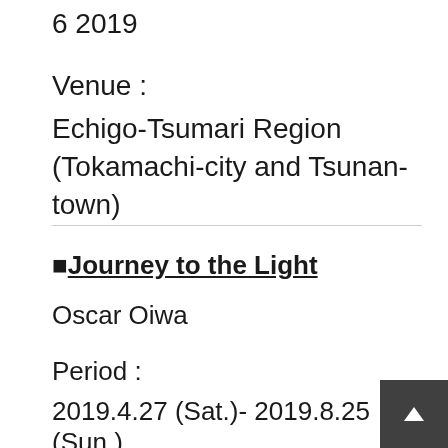6 2019
Venue :
Echigo-Tsumari Region (Tokamachi-city and Tsunan-town)
■Journey to the Light
Oscar Oiwa
Period :
2019.4.27 (Sat.)- 2019.8.25 (Sun.)